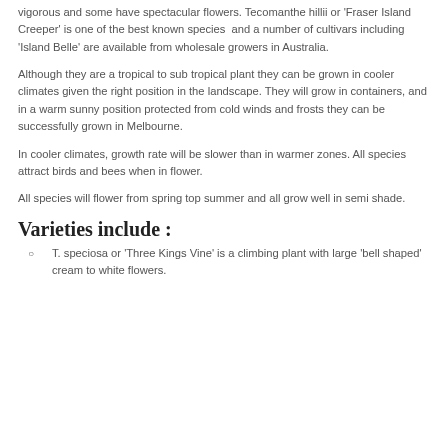vigorous and some have spectacular flowers. Tecomanthe hillii or 'Fraser Island Creeper' is one of the best known species and a number of cultivars including 'Island Belle' are available from wholesale growers in Australia.
Although they are a tropical to sub tropical plant they can be grown in cooler climates given the right position in the landscape. They will grow in containers, and in a warm sunny position protected from cold winds and frosts they can be successfully grown in Melbourne.
In cooler climates, growth rate will be slower than in warmer zones. All species attract birds and bees when in flower.
All species will flower from spring top summer and all grow well in semi shade.
Varieties include :
T. speciosa or 'Three Kings Vine' is a climbing plant with large 'bell shaped' cream to white flowers.